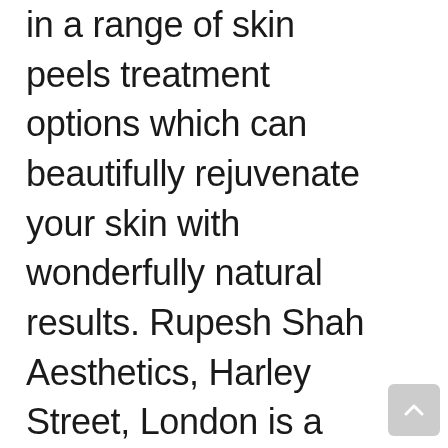in a range of skin peels treatment options which can beautifully rejuvenate your skin with wonderfully natural results. Rupesh Shah Aesthetics, Harley Street, London is a Save Face Accredited clinic. On day three peeling will begin. As with any cosmetic procedure, you should ensure that you use a practitioner who is medically